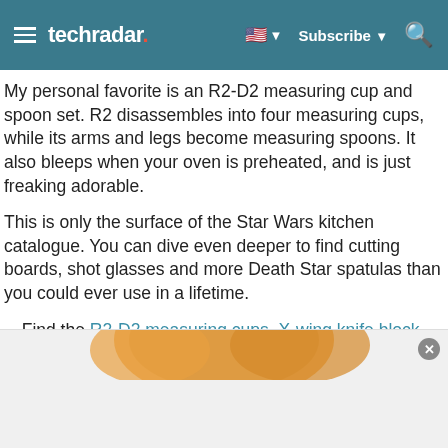techradar. Subscribe
My personal favorite is an R2-D2 measuring cup and spoon set. R2 disassembles into four measuring cups, while its arms and legs become measuring spoons. It also bleeps when your oven is preheated, and is just freaking adorable.
This is only the surface of the Star Wars kitchen catalogue. You can dive even deeper to find cutting boards, shot glasses and more Death Star spatulas than you could ever use in a lifetime.
Find the R2-D2 measuring cups, X-wing knife block, lightsaber pizza cutter and tea infuser on Amazon
[Figure (photo): Partial view of a food item at the bottom of the page with a close button]